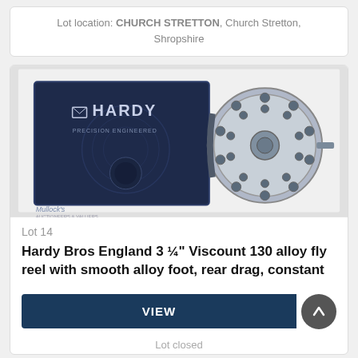Lot location: CHURCH STRETTON, Church Stretton, Shropshire
[Figure (photo): Hardy Bros fly reel product photo showing a Hardy Viscount 130 alloy fly reel next to its dark blue Hardy branded box, on a white background. Mullock's auction house watermark visible bottom left.]
Lot 14
Hardy Bros England 3 ¼" Viscount 130 alloy fly reel with smooth alloy foot, rear drag, constant
VIEW
Lot closed